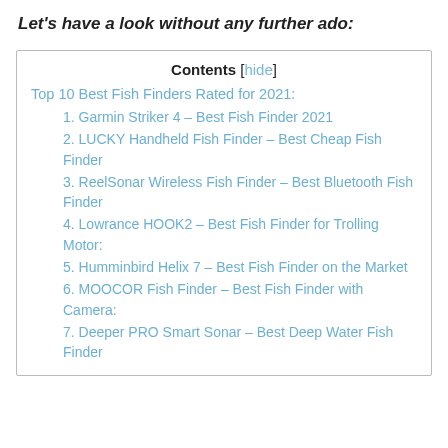Let's have a look without any further ado:
| Contents [hide] |
| --- |
| Top 10 Best Fish Finders Rated for 2021: |
| 1. Garmin Striker 4 – Best Fish Finder 2021 |
| 2. LUCKY Handheld Fish Finder – Best Cheap Fish Finder |
| 3. ReelSonar Wireless Fish Finder – Best Bluetooth Fish Finder |
| 4. Lowrance HOOK2 – Best Fish Finder for Trolling Motor: |
| 5. Humminbird Helix 7 – Best Fish Finder on the Market |
| 6. MOOCOR Fish Finder – Best Fish Finder with Camera: |
| 7. Deeper PRO Smart Sonar – Best Deep Water Fish Finder |